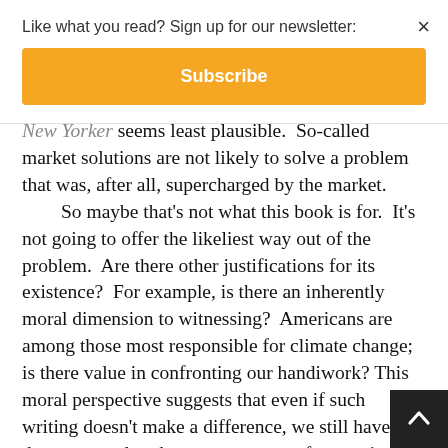Like what you read? Sign up for our newsletter:
Subscribe
New Yorker seems least plausible. So-called market solutions are not likely to solve a problem that was, after all, supercharged by the market.
So maybe that's not what this book is for. It's not going to offer the likeliest way out of the problem. Are there other justifications for its existence? For example, is there an inherently moral dimension to witnessing? Americans are among those most responsible for climate change; is there value in confronting our handiwork? This moral perspective suggests that even if such writing doesn't make a difference, we still have a duty to attend to the consequences of our actions. Maybe, but there's something too navel-gazey in that idea for my taste. Reading about climate change doesn't really put you on moral high ground. Self-